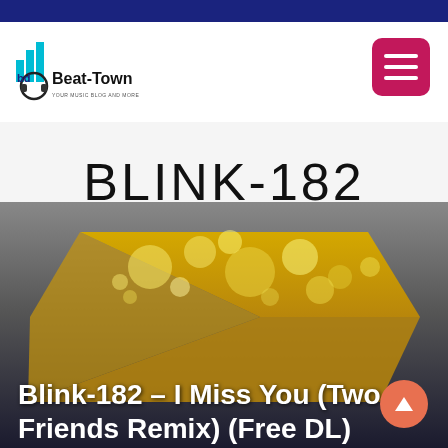[Figure (logo): Beat-Town logo with music/headphone icons and colorful bar chart style graphic, with text 'Beat-Town' and tagline below]
[Figure (illustration): Blink-182 band artwork: large 'BLINK-182' text at top over a golden/yellow splattered trapezoid/chevron shape on a dark gradient background]
Blink-182 – I Miss You (Two Friends Remix) (Free DL)